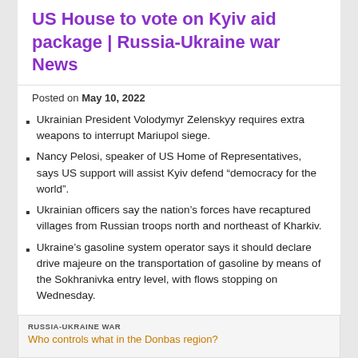US House to vote on Kyiv aid package | Russia-Ukraine war News
Posted on May 10, 2022
Ukrainian President Volodymyr Zelenskyy requires extra weapons to interrupt Mariupol siege.
Nancy Pelosi, speaker of US Home of Representatives, says US support will assist Kyiv defend “democracy for the world”.
Ukrainian officers say the nation’s forces have recaptured villages from Russian troops north and northeast of Kharkiv.
Ukraine’s gasoline system operator says it should declare drive majeure on the transportation of gasoline by means of the Sokhranivka entry level, with flows stopping on Wednesday.
RUSSIA-UKRAINE WAR
Who controls what in the Donbas region?